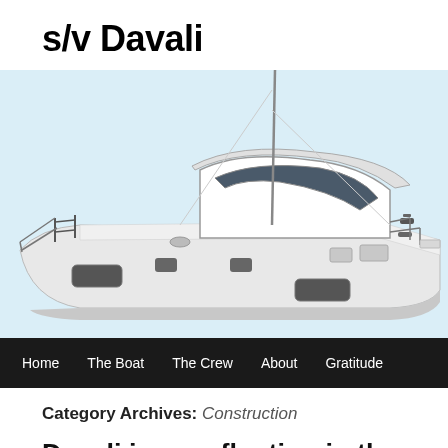s/v Davali
[Figure (illustration): Render of a modern sailing catamaran (white hull) viewed from the side/above, showing the cockpit, mast, safety rails, and deck hardware. Light blue background.]
Home  The Boat  The Crew  About  Gratitude
Category Archives: Construction
Davali is now floating in the harbor of La